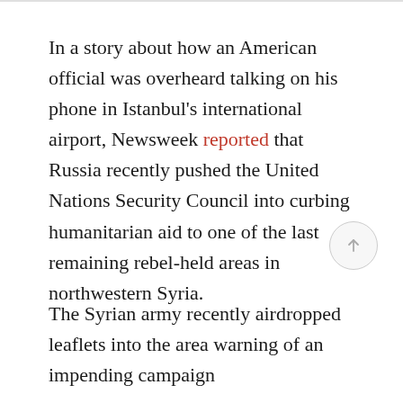In a story about how an American official was overheard talking on his phone in Istanbul's international airport, Newsweek reported that Russia recently pushed the United Nations Security Council into curbing humanitarian aid to one of the last remaining rebel-held areas in northwestern Syria.
The Syrian army recently airdropped leaflets into the area warning of an impending campaign